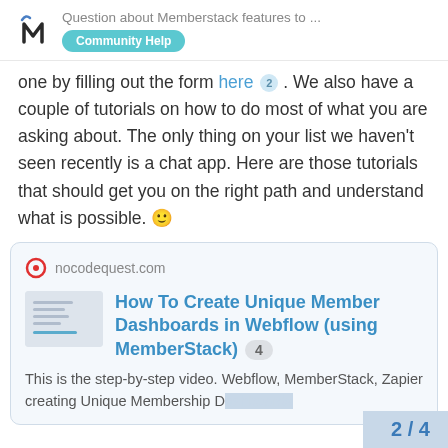Question about Memberstack features to ... | Community Help
one by filling out the form here 2 . We also have a couple of tutorials on how to do most of what you are asking about. The only thing on your list we haven't seen recently is a chat app. Here are those tutorials that should get you on the right path and understand what is possible. 🙂
[Figure (screenshot): Link card preview for nocodequest.com article titled 'How To Create Unique Member Dashboards in Webflow (using MemberStack)' with count badge 4. Description: This is the step-by-step video. Webflow, MemberStack, Zapier creating Unique Membership Dashboards]
2 / 4